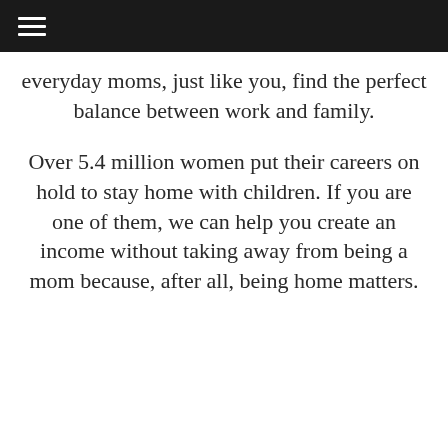≡
everyday moms, just like you, find the perfect balance between work and family.
Over 5.4 million women put their careers on hold to stay home with children. If you are one of them, we can help you create an income without taking away from being a mom because, after all, being home matters.